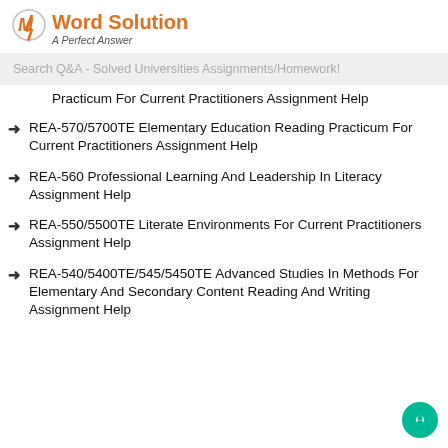My Word Solution - A Perfect Answer
Search Q&A - Solved Universities Assignments/Homework!
Practicum For Current Practitioners Assignment Help
REA-570/5700TE Elementary Education Reading Practicum For Current Practitioners Assignment Help
REA-560 Professional Learning And Leadership In Literacy Assignment Help
REA-550/5500TE Literate Environments For Current Practitioners Assignment Help
REA-540/5400TE/545/5450TE Advanced Studies In Methods For Elementary And Secondary Content Reading And Writing Assignment Help